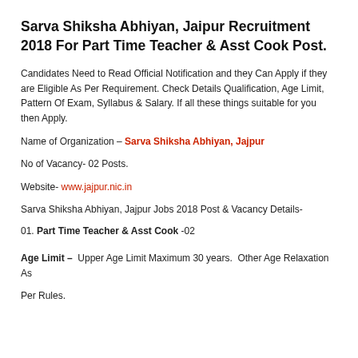Sarva Shiksha Abhiyan, Jaipur Recruitment 2018 For Part Time Teacher & Asst Cook Post.
Candidates Need to Read Official Notification and they Can Apply if they are Eligible As Per Requirement. Check Details Qualification, Age Limit, Pattern Of Exam, Syllabus & Salary. If all these things suitable for you then Apply.
Name of Organization – Sarva Shiksha Abhiyan, Jajpur
No of Vacancy- 02 Posts.
Website- www.jajpur.nic.in
Sarva Shiksha Abhiyan, Jajpur Jobs 2018 Post & Vacancy Details-
01. Part Time Teacher & Asst Cook -02
Age Limit – Upper Age Limit Maximum 30 years. Other Age Relaxation As Per Rules.